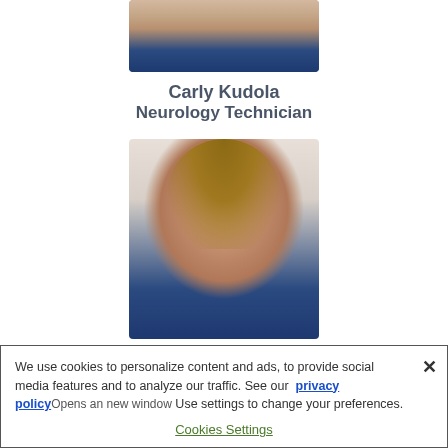[Figure (photo): Partial portrait of Carly Kudola (lower portion visible), wearing dark blue top, curly dark hair]
Carly Kudola
Neurology Technician
[Figure (photo): Portrait of Ann LeStrange, a woman with light brown hair pulled back, wearing a dark navy/blue top, against a light background]
Ann LeStrange
Surgery Prep Assistant
We use cookies to personalize content and ads, to provide social media features and to analyze our traffic. See our privacy policy Opens an new window. Use settings to change your preferences.
Cookies Settings